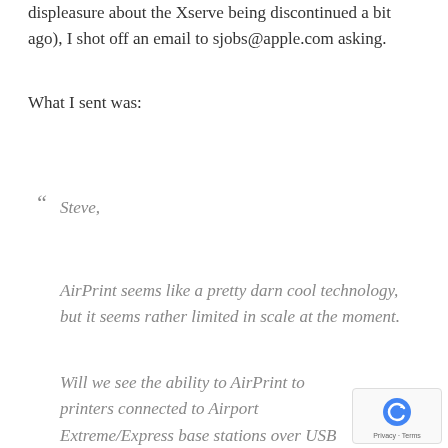displeasure about the Xserve being discontinued a bit ago), I shot off an email to sjobs@apple.com asking.
What I sent was:
“ Steve,
AirPrint seems like a pretty darn cool technology, but it seems rather limited in scale at the moment.
Will we see the ability to AirPrint to printers connected to Airport Extreme/Express base stations over USB anytime soon?